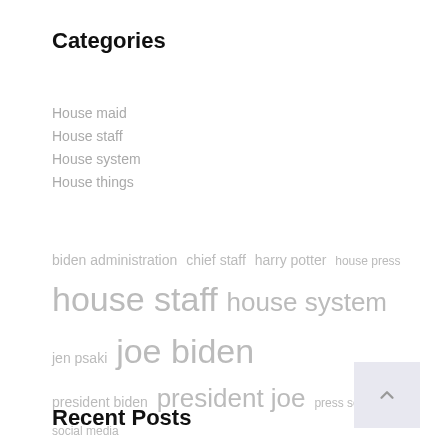Categories
House maid
House staff
House system
House things
biden administration  chief staff  harry potter  house press  house staff  house system  jen psaki  joe biden  president biden  president joe  press secretary  social media  staff members  united states  vice president  white house
Recent Posts